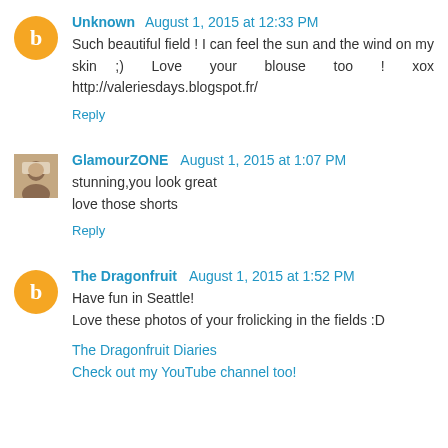Unknown August 1, 2015 at 12:33 PM
Such beautiful field ! I can feel the sun and the wind on my skin ;) Love your blouse too ! xox http://valeriesdays.blogspot.fr/
Reply
GlamourZONE August 1, 2015 at 1:07 PM
stunning,you look great
love those shorts
Reply
The Dragonfruit August 1, 2015 at 1:52 PM
Have fun in Seattle!
Love these photos of your frolicking in the fields :D
The Dragonfruit Diaries
Check out my YouTube channel too!